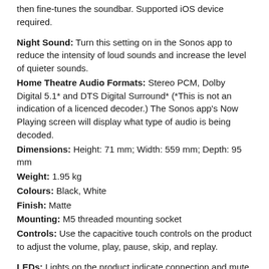then fine-tunes the soundbar. Supported iOS device required.
Night Sound: Turn this setting on in the Sonos app to reduce the intensity of loud sounds and increase the level of quieter sounds.
Home Theatre Audio Formats: Stereo PCM, Dolby Digital 5.1* and DTS Digital Surround* (*This is not an indication of a licenced decoder.) The Sonos app's Now Playing screen will display what type of audio is being decoded.
Dimensions: Height: 71 mm; Width: 559 mm; Depth: 95 mm
Weight: 1.95 kg
Colours: Black, White
Finish: Matte
Mounting: M5 threaded mounting socket
Controls: Use the capacitive touch controls on the product to adjust the volume, play, pause, skip, and replay.
LEDs: Lights on the product indicate connection and mute status.
WiFi: Connect to WiFi with any 2.4 GHz 802.11/b/g/n broadcast-capable router.